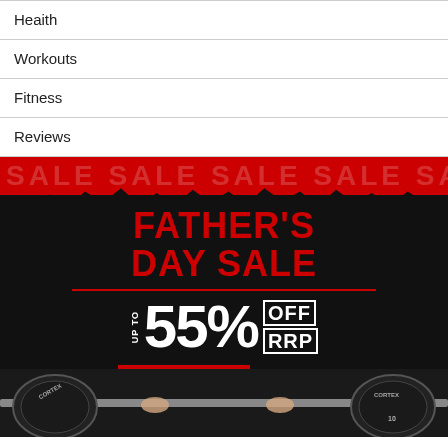Heaith
Workouts
Fitness
Reviews
[Figure (photo): Father's Day Sale advertisement banner featuring bold red text on dark background reading FATHER'S DAY SALE, up to 55% OFF RRP, SHOP NOW button, ENDS: SEPTEMBER 3RD, with a person holding a barbell with CORTEX weight plates at the bottom.]